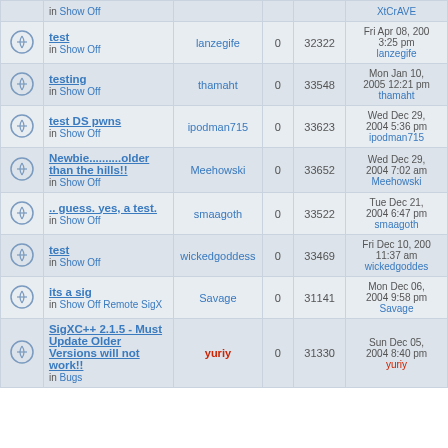|  | Topic | Author | Replies | Views | Last Post |
| --- | --- | --- | --- | --- | --- |
| [icon] | test
in Show Off | lanzegife | 0 | 32322 | Fri Apr 08, 200
3:25 pm
lanzegife |
| [icon] | testing
in Show Off | thamaht | 0 | 33548 | Mon Jan 10,
2005 12:21 pm
thamaht |
| [icon] | test DS pwns
in Show Off | ipodman715 | 0 | 33623 | Wed Dec 29,
2004 5:36 pm
ipodman715 |
| [icon] | Newbie..........older than the hills!!
in Show Off | Meehowski | 0 | 33652 | Wed Dec 29,
2004 7:02 am
Meehowski |
| [icon] | .. guess. yes, a test.
in Show Off | smaagoth | 0 | 33522 | Tue Dec 21,
2004 6:47 pm
smaagoth |
| [icon] | test
in Show Off | wickedgoddess | 0 | 33469 | Fri Dec 10, 200
11:37 am
wickedgoddess |
| [icon] | its a sig
in Show Off Remote SigX | Savage | 0 | 31141 | Mon Dec 06,
2004 9:58 pm
Savage |
| [icon] | SigXC++ 2.1.5 - Must Update Older Versions will not work!!
in Bugs | yuriy | 0 | 31330 | Sun Dec 05,
2004 8:40 pm
yuriy |